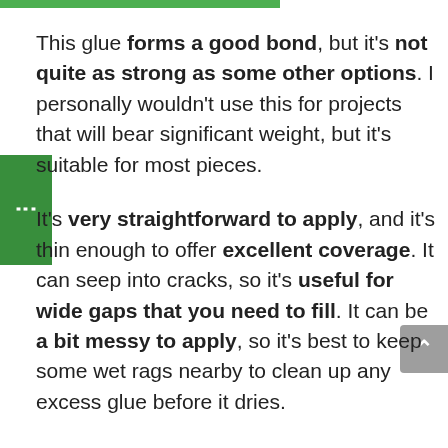This glue forms a good bond, but it's not quite as strong as some other options. I personally wouldn't use this for projects that will bear significant weight, but it's suitable for most pieces.
It's very straightforward to apply, and it's thin enough to offer excellent coverage. It can seep into cracks, so it's useful for wide gaps that you need to fill. It can be a bit messy to apply, so it's best to keep some wet rags nearby to clean up any excess glue before it dries.
I suggest keeping your joint clamped for about